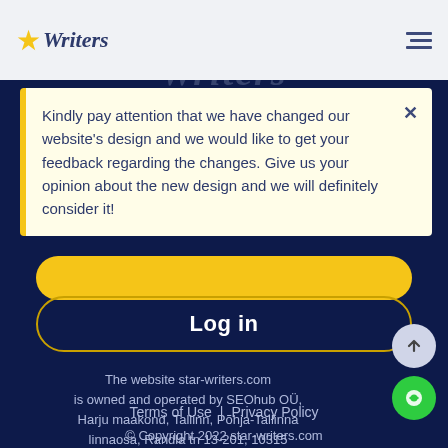[Figure (logo): Writers star logo with gold star and italic serif text 'Writers']
Kindly pay attention that we have changed our website's design and we would like to get your feedback regarding the changes. Give us your opinion about the new design and we will definitely consider it!
Log in
The website star-writers.com is owned and operated by SEOhub OÜ, Harju maakond, Tallinn, Põhja-Tallinna linnaosa, Randla tn 13-201, 10315
Terms of Use | Privacy Policy
© Copyright 2022 star-writers.com